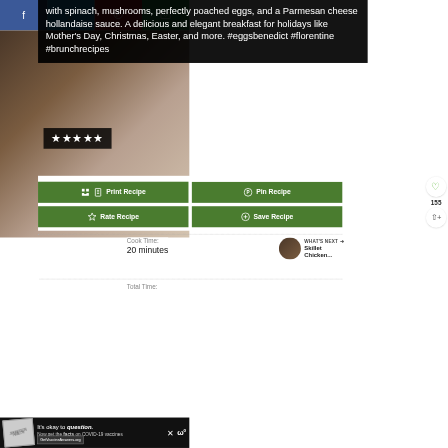Social share bar: Facebook, Twitter, Pinterest, Email
[Figure (photo): Food photo of eggs benedict florentine dish with poached eggs and hollandaise sauce on dark background]
with spinach, mushrooms, perfectly poached eggs, and a Parmesan cheese hollandaise sauce. A delicious and elegant breakfast for holidays like Mother's Day, Christmas, Easter, and more. #eggsbenedict #florentine #brunchrecipes
★★★★★
Print Recipe
Pin Recipe
Rate Recipe
Save Recipe
Cook Time:
20 minutes
WHAT'S NEXT → Skillet Chicken...
Total Time:
It's okay to question. Now get the facts on COVID-19 vaccines GetVaccineAnswers.org